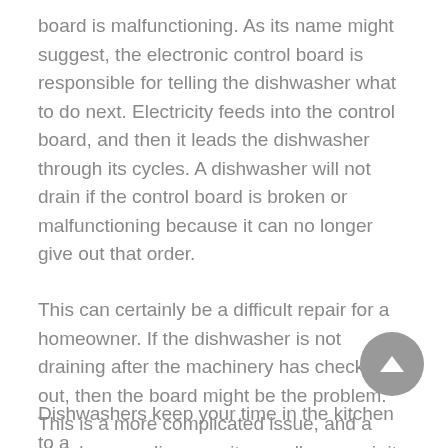board is malfunctioning. As its name might suggest, the electronic control board is responsible for telling the dishwasher what to do next. Electricity feeds into the control board, and then it leads the dishwasher through its cycles. A dishwasher will not drain if the control board is broken or malfunctioning because it can no longer give out that order.
This can certainly be a difficult repair for a homeowner. If the dishwasher is not draining after the machinery has checked out, then the board might be the problem. This is a more complicated issue, and a plumber can diagnose it as well as repair it.
Dishwashers keep your time in the kitchen to a